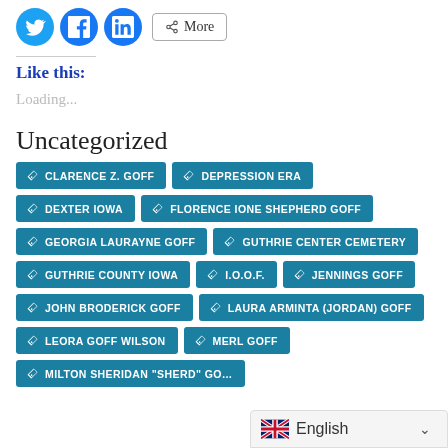[Figure (other): Social media share icons: Twitter (blue bird), Facebook (blue f), LinkedIn (blue in), and a More button with share icon]
Like this:
Loading...
Uncategorized
CLARENCE Z. GOFF
DEPRESSION ERA
DEXTER IOWA
FLORENCE IONE SHEPHERD GOFF
GEORGIA LAURAYNE GOFF
GUTHRIE CENTER CEMETERY
GUTHRIE COUNTY IOWA
I.O.O.F.
JENNINGS GOFF
JOHN BRODERICK GOFF
LAURA ARMINTA (JORDAN) GOFF
LEORA GOFF WILSON
MERL GOFF
MILTON SHERIDAN "SHERD" GO...
English